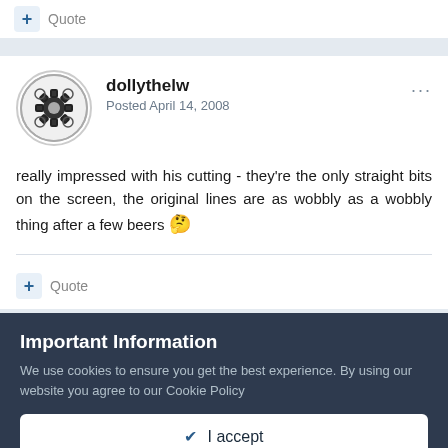+ Quote
dollythelw
Posted April 14, 2008
really impressed with his cutting - they're the only straight bits on the screen, the original lines are as wobbly as a wobbly thing after a few beers 🤔
+ Quote
Important Information
We use cookies to ensure you get the best experience. By using our website you agree to our Cookie Policy
✔ I accept